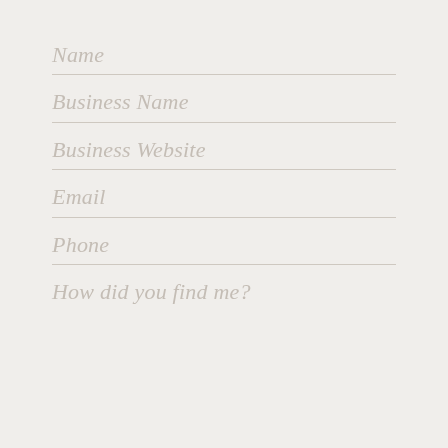Name
Business Name
Business Website
Email
Phone
How did you find me?